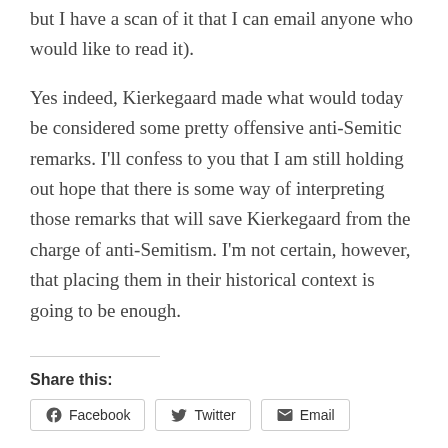but I have a scan of it that I can email anyone who would like to read it).
Yes indeed, Kierkegaard made what would today be considered some pretty offensive anti-Semitic remarks. I'll confess to you that I am still holding out hope that there is some way of interpreting those remarks that will save Kierkegaard from the charge of anti-Semitism. I'm not certain, however, that placing them in their historical context is going to be enough.
Share this:
Facebook
Twitter
Email